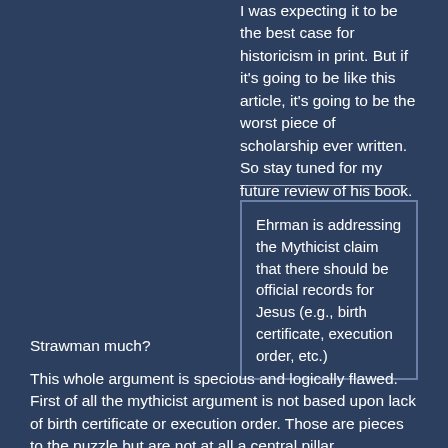I was expecting it to be the best case for historicism in print. But if it's going to be like this article, it's going to be the worst piece of scholarship ever written. So stay tuned for my future review of his book. For now, I will address this brief article, not knowing how his book might yet rescue him from an epic fail.
Ehrman is addressing the Mythicist claim that there should be official records for Jesus (e.g., birth certificate, execution order, etc.)
Strawman much?
This whole argument is specious and logically flawed. First of all the mythicist argument is not based upon lack of birth certificate or execution order. Those are pieces to the puzzle but are not at all a central pillar.